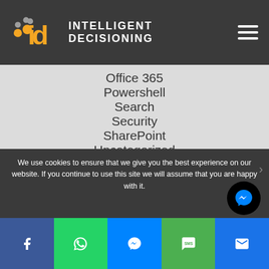[Figure (logo): Intelligent Decisioning logo with orange and grey dots forming 'id' and text INTELLIGENT DECISIONING]
Office 365
Powershell
Search
Security
SharePoint
Uncategorized
We use cookies to ensure that we give you the best experience on our website. If you continue to use this site we will assume that you are happy with it.